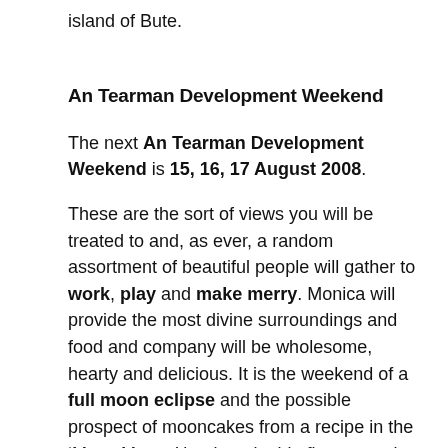island of Bute.
An Tearman Development Weekend
The next An Tearman Development Weekend is 15, 16, 17 August 2008.
These are the sort of views you will be treated to and, as ever, a random assortment of beautiful people will gather to work, play and make merry. Monica will provide the most divine surroundings and food and company will be wholesome, hearty and delicious. It is the weekend of a full moon eclipse and the possible prospect of mooncakes from a recipe in the ‘Many Moons’ book and a big fire are and maybe even some dancing are mouth-watering indeed.
More here: An Tearman Gallery